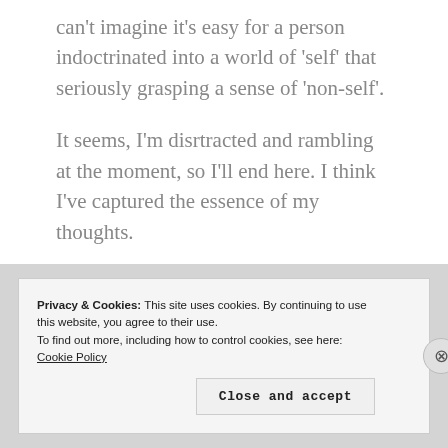can't imagine it's easy for a person indoctrinated into a world of 'self' that seriously grasping a sense of 'non-self'.
It seems, I'm disrtracted and rambling at the moment, so I'll end here. I think I've captured the essence of my thoughts.
Privacy & Cookies: This site uses cookies. By continuing to use this website, you agree to their use.
To find out more, including how to control cookies, see here:
Cookie Policy